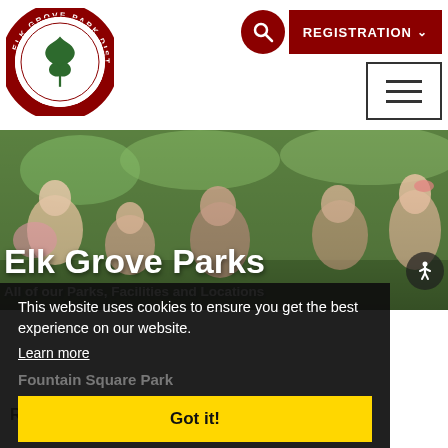[Figure (logo): Elk Grove Park District circular logo with oak leaf and text 'ELK GROVE PARK DISTRICT • ILLINOIS •']
[Figure (other): Dark red registration button with search icon and hamburger menu icon]
[Figure (photo): Hero photo of children at a park event with green grass background]
Elk Grove Parks
All of our Parks, Facilities and Locations
This website uses cookies to ensure you get the best experience on our website.
Learn more
Fountain Square Park
Got it!
Clark Park
Roosevelt Park